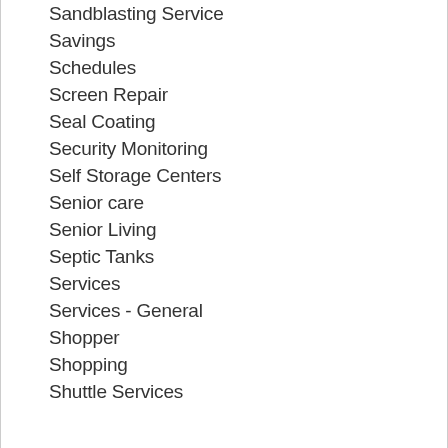Sandblasting Service
Savings
Schedules
Screen Repair
Seal Coating
Security Monitoring
Self Storage Centers
Senior care
Senior Living
Septic Tanks
Services
Services - General
Shopper
Shopping
Shuttle Services